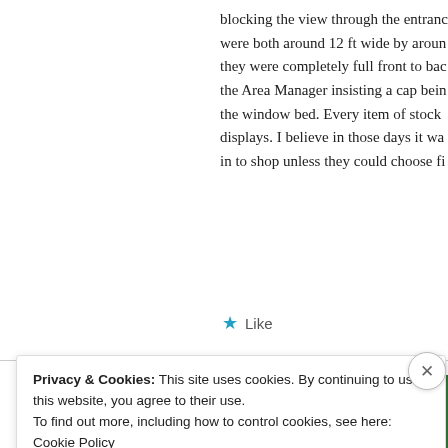blocking the view through the entrance were both around 12 ft wide by around they were completely full front to back the Area Manager insisting a cap bein the window bed. Every item of stock displays. I believe in those days it wa in to shop unless they could choose fi
★ Like
[Figure (screenshot): Green plugin promotion box with title 'plugin' and a white button 'Back up your site']
Privacy & Cookies: This site uses cookies. By continuing to use this website, you agree to their use.
To find out more, including how to control cookies, see here: Cookie Policy
Close and accept